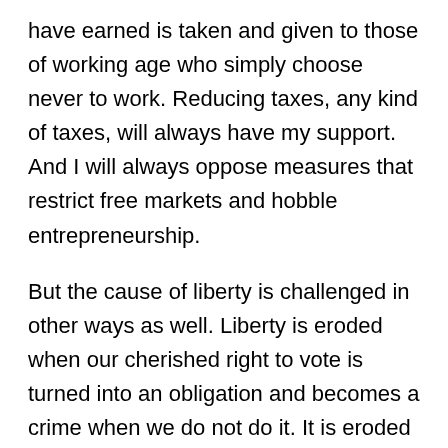have earned is taken and given to those of working age who simply choose never to work. Reducing taxes, any kind of taxes, will always have my support. And I will always oppose measures that restrict free markets and hobble entrepreneurship.
But the cause of liberty is challenged in other ways as well. Liberty is eroded when our cherished right to vote is turned into an obligation and becomes a crime when we do not do it. It is eroded when we are unable to marry the person of our choice, whatever their gender. It is eroded when, if we choose to end our life, we must do it before we become feeble and need help, because otherwise anyone who helps us commits a crime. It is eroded when we cannot speak or write freely out of fear someone will choose to take offence. Free speech is fundamental to